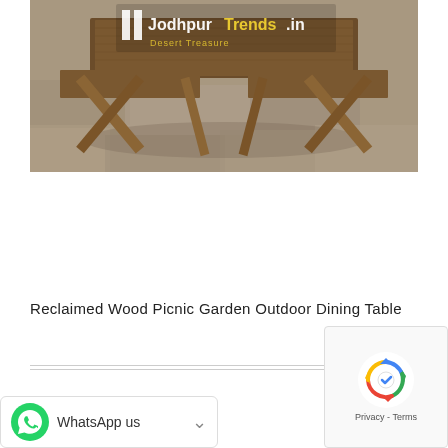[Figure (photo): Reclaimed wood picnic garden outdoor dining table with X-shaped legs on stone floor, with JodhpurTrends.in Desert Treasure watermark/logo overlay]
Reclaimed Wood Picnic Garden Outdoor Dining Table
[Figure (other): WhatsApp us button with green WhatsApp icon and dropdown arrow]
[Figure (other): reCAPTCHA widget showing the reCAPTCHA logo and Privacy - Terms text]